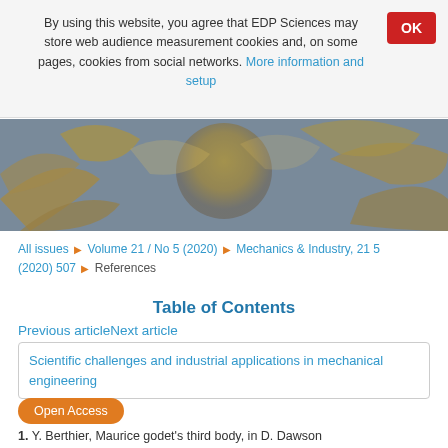By using this website, you agree that EDP Sciences may store web audience measurement cookies and, on some pages, cookies from social networks. More information and setup
[Figure (illustration): Abstract mechanical engineering header image with golden and grey turbine/gear-like 3D shapes on a grey background]
All issues ▶ Volume 21 / No 5 (2020) ▶ Mechanics & Industry, 21 5 (2020) 507 ▶ References
Table of Contents
Previous articleNext article
Scientific challenges and industrial applications in mechanical engineering
Open Access
1. Y. Berthier, Maurice godet's third body, in D. Dawson